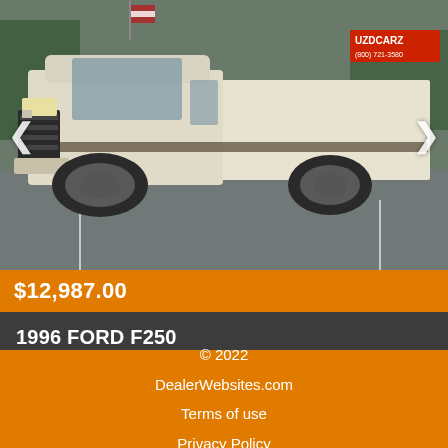[Figure (photo): 1996 Ford F250 pickup truck, white and tan two-tone, crew cab, long bed, parked in a parking lot. UZDCARZ dealer sign visible in background.]
$12,987.00
1996 FORD F250
162,699 miles
© 2022
DealerWebsites.com
Terms of use
Privacy Policy